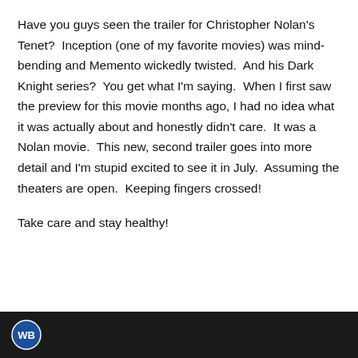Have you guys seen the trailer for Christopher Nolan's Tenet?  Inception (one of my favorite movies) was mind-bending and Memento wickedly twisted.  And his Dark Knight series?  You get what I'm saying.  When I first saw the preview for this movie months ago, I had no idea what it was actually about and honestly didn't care.  It was a Nolan movie.  This new, second trailer goes into more detail and I'm stupid excited to see it in July.  Assuming the theaters are open.  Keeping fingers crossed!
Take care and stay healthy!
[Figure (screenshot): Black video player bar at bottom with Warner Bros. logo visible at left.]